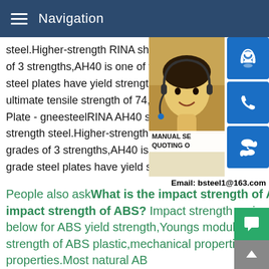Navigation
steel.Higher-strength RINA shipbuilding st of 3 strengths,AH40 is one of the grades. T steel plates have yield strength of 56,500 ultimate tensile strength of 74,000 -RINA G Plate - gneesteelRINA AH40 steel is a kin strength steel.Higher-strength RINA shipb grades of 3 strengths,AH40 is one of the g grade steel plates have yield strength of 5 ultimate tensile strength of 74,000 -
[Figure (photo): Customer service woman with headset, with blue icon buttons for chat/phone/Skype on the right side]
MANUAL SE QUOTING O Email: bsteel1@163.com
People also askWhat is the impact strength of ABS?What is the impact strength of ABS? Impact strength varies by grade.See the chart below for ABS yield strength,Youngs modul (ABS elasticity),tensile yield strength of ABS plastic,mechanical properties of ABS plastic,and other properties.Most natural AB